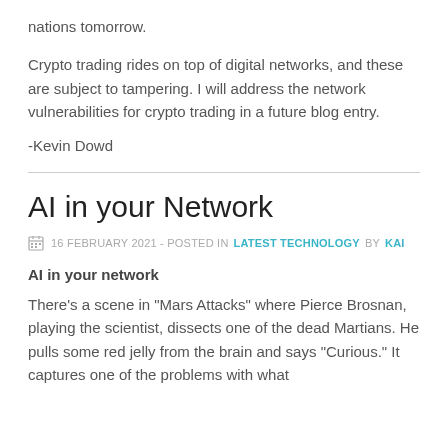nations tomorrow.
Crypto trading rides on top of digital networks, and these are subject to tampering. I will address the network vulnerabilities for crypto trading in a future blog entry.
-Kevin Dowd
AI in your Network
16 FEBRUARY 2021 - POSTED IN LATEST TECHNOLOGY BY KAI
AI in your network
There's a scene in "Mars Attacks" where Pierce Brosnan, playing the scientist, dissects one of the dead Martians. He pulls some red jelly from the brain and says "Curious." It captures one of the problems with what